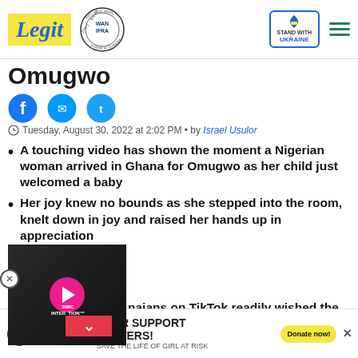Legit — WAN IFRA 2021 Best News Website in Africa — Stand With Ukraine
Omugwo
[Figure (other): Social share icons: Facebook, Messenger, Twitter]
Tuesday, August 30, 2022 at 2:02 PM • by Israel Usulor
A touching video has shown the moment a Nigerian woman arrived in Ghana for Omugwo as her child just welcomed a baby
Her joy knew no bounds as she stepped into the room, knelt down in joy and raised her hands up in appreciation
[Figure (screenshot): Embedded video overlay showing two people, with a pink play button and text 'COSMIC INTERVENTION']
naians on TikTok readily wished the woman a very
[Figure (other): Ad banner: YOUR SUPPORT MATTERS! SAVE THE LIFE OF GIRL AT RISK — WARF / Legit Charity — Donate now! button]